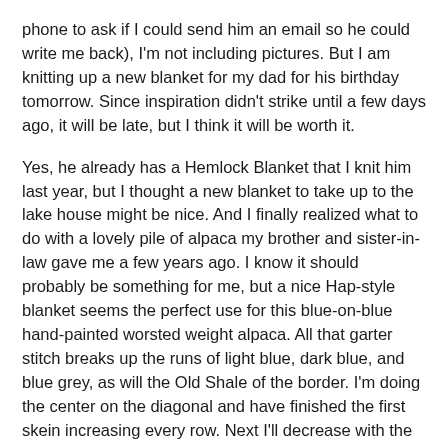phone to ask if I could send him an email so he could write me back), I'm not including pictures. But I am knitting up a new blanket for my dad for his birthday tomorrow. Since inspiration didn't strike until a few days ago, it will be late, but I think it will be worth it.
Yes, he already has a Hemlock Blanket that I knit him last year, but I thought a new blanket to take up to the lake house might be nice. And I finally realized what to do with a lovely pile of alpaca my brother and sister-in-law gave me a few years ago. I know it should probably be something for me, but a nice Hap-style blanket seems the perfect use for this blue-on-blue hand-painted worsted weight alpaca. All that garter stitch breaks up the runs of light blue, dark blue, and blue grey, as will the Old Shale of the border. I'm doing the center on the diagonal and have finished the first skein increasing every row. Next I'll decrease with the second skein back down to a three-stitch point. Then it will be border time! And I plan to work until I run out of the other two skeins of this softness (Misti Alpaca Worsted Hand-dye, to be exact).